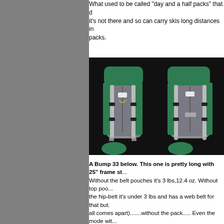What used to be called 'day and a half packs' that ... it's not there and so can carry skis long distances in ... packs.
[Figure (photo): Two photos of a green and gray Bump 33 backpack with external frame, shown side by side against a dark background. A small green pouch is visible at the base of each pack.]
A Bump 33 below. This one is pretty long with 25" frame st... Without the belt pouches it's 3 lbs,12.4 oz. Without top poo... the hip-belt it's under 3 lbs and has a web belt for that but. all comes apart).......without the pack..... Even the mode wit... close to 3 lbs. Not too bad for 500 Cordura! (full Spectra bo... rear patch). Weight can also be saved by just removing the... needs em!